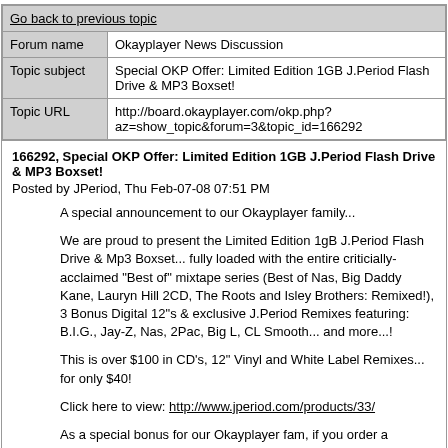| Go back to previous topic |
| Forum name | Okayplayer News Discussion |
| Topic subject | Special OKP Offer: Limited Edition 1GB J.Period Flash Drive & MP3 Boxset! |
| Topic URL | http://board.okayplayer.com/okp.php?az=show_topic&forum=3&topic_id=166292 |
166292, Special OKP Offer: Limited Edition 1GB J.Period Flash Drive & MP3 Boxset!
Posted by JPeriod, Thu Feb-07-08 07:51 PM
A special announcement to our Okayplayer family...
We are proud to present the Limited Edition 1gB J.Period Flash Drive & Mp3 Boxset... fully loaded with the entire criticially-acclaimed "Best of" mixtape series (Best of Nas, Big Daddy Kane, Lauryn Hill 2CD, The Roots and Isley Brothers: Remixed!), 3 Bonus Digital 12"s & exclusive J.Period Remixes featuring: B.I.G., Jay-Z, Nas, 2Pac, Big L, CL Smooth... and more...!
This is over $100 in CD's, 12" Vinyl and White Label Remixes... for only $40!
Click here to view: http://www.jperiod.com/products/33/
As a special bonus for our Okayplayer fam, if you order a J.Period Flash Drive & Mp3 Boxset before Feb 14, just send an email to info@jperiod.com with "J.PERIOD & OKAYPLAYER